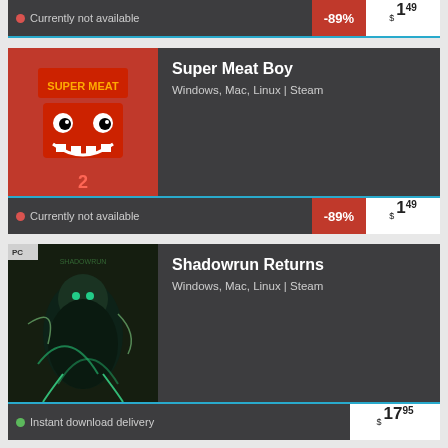Currently not available
Super Meat Boy
Windows, Mac, Linux | Steam
Currently not available
-89% $ 1.49
Shadowrun Returns
Windows, Mac, Linux | Steam
Instant download delivery
$ 17.95
BATTLETECH - Urban Warfare (DLC)
Windows, Mac, Linux | Steam